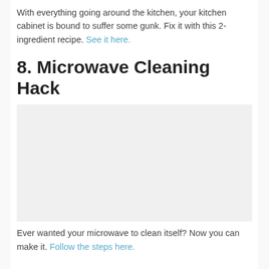With everything going around the kitchen, your kitchen cabinet is bound to suffer some gunk. Fix it with this 2-ingredient recipe. See it here.
8. Microwave Cleaning Hack
[Figure (photo): Image placeholder for microwave cleaning hack photo]
Ever wanted your microwave to clean itself? Now you can make it. Follow the steps here.